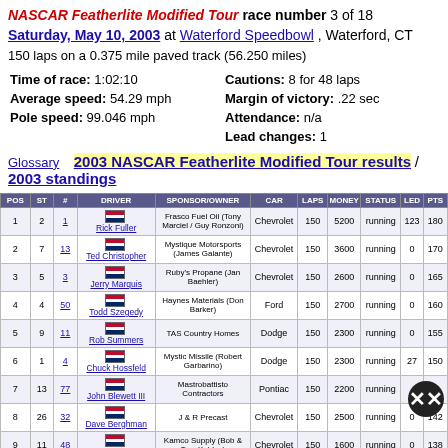NASCAR Featherlite Modified Tour race number 3 of 18
Saturday, May 10, 2003 at Waterford Speedbowl, Waterford, CT
150 laps on a 0.375 mile paved track (56.250 miles)
Time of race: 1:02:10   Cautions: 8 for 48 laps
Average speed: 54.29 mph   Margin of victory: .22 sec
Pole speed: 99.046 mph   Attendance: n/a
   Lead changes: 1
Glossary  2003 NASCAR Featherlite Modified Tour results / 2003 standings
| POS | ST | # | DRIVER | SPONSOR/OWNER | CAR | LAPS | MONEY | STATUS | LED | PTS |
| --- | --- | --- | --- | --- | --- | --- | --- | --- | --- | --- |
| 1 | 2 | 1 | Rick Fuller | Frasco Fuel Oil (Tony Marciel / Guy Ronzoni) | Chevrolet | 150 | 5200 | running | 123 | 180 |
| 2 | 7 | 13 | Ted Christopher | Mystique Motorsports (James Galante) | Chevrolet | 150 | 3600 | running | 0 | 170 |
| 3 | 5 | 3 | Jerry Marquis | Ruby's Propane (Jan Baehler) | Chevrolet | 150 | 2600 | running | 0 | 165 |
| 4 | 4 | 50 | Todd Szegedy | Haynes Materials (Don Barker) | Ford | 150 | 2700 | running | 0 | 160 |
| 5 | 9 | 11 | Rob Summers | TAS Country Homes | Dodge | 150 | 2300 | running | 0 | 155 |
| 6 | 1 | 4 | Chuck Hossfeld | Mystic Missile (Robert Garbarino) | Dodge | 150 | 2300 | running | 27 | 150 |
| 7 | 13 | 77 | John Blewett III | Mastrobattisto Contractors | Pontiac | 150 | 2200 | running |  | 6 |
| 8 | 26 | 32 | Dave Berghman | J & R Precast | Chevrolet | 150 | 2500 | running | 0 | 142 |
| 9 | 11 | 48 | Tony Hirschman | Kamco Supply (Bob & Tom Kehley) | Chevrolet | 150 | 1600 | running | 0 | 138 |
| 10 |  |  |  | Lombard Inside Out |  |  |  |  |  |  |